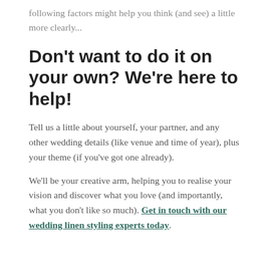following factors might help you think (and see) a little more clearly...
Don't want to do it on your own? We're here to help!
Tell us a little about yourself, your partner, and any other wedding details (like venue and time of year), plus your theme (if you've got one already).
We'll be your creative arm, helping you to realise your vision and discover what you love (and importantly, what you don't like so much). Get in touch with our wedding linen styling experts today.